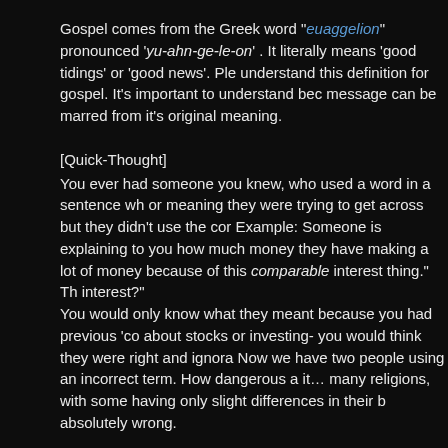Gospel comes from the Greek word "euaggelion" pronounced 'yu-ahn-ge-le-on' . It literally means 'good tidings' or 'good news'. Please understand this definition for gospel. It's important to understand because the message can be marred from it's original meaning.
[Quick-Thought]
You ever had someone you knew, who used a word in a sentence where the idea or meaning they were trying to get across but they didn't use the correct word. Example: Someone is explaining to you how much money they have and says, "I'm making a lot of money because of this comparable interest thing." They mean compound interest? You would only know what they meant because you had previous 'context'. Without context about stocks or investing- you would think they were right and ignore the difference. Now we have two people using an incorrect term. How dangerous a thing that is. Apply it… many religions, with some having only slight differences in their beliefs but being absolutely wrong.
So, gospel means "good news". What good news?… What is the good news?
Can it be that religion has misunderstood, misrepresented, miscommunicated,